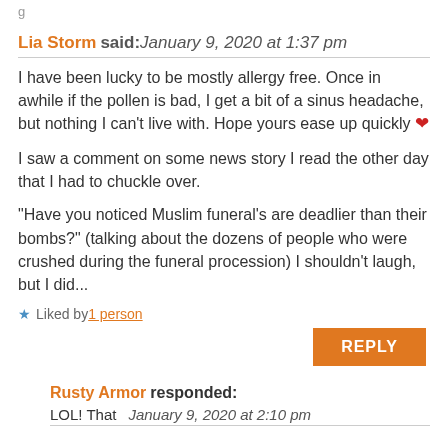g
Lia Storm said: January 9, 2020 at 1:37 pm
I have been lucky to be mostly allergy free. Once in awhile if the pollen is bad, I get a bit of a sinus headache, but nothing I can't live with. Hope yours ease up quickly ❤
I saw a comment on some news story I read the other day that I had to chuckle over.
"Have you noticed Muslim funeral's are deadlier than their bombs?" (talking about the dozens of people who were crushed during the funeral procession) I shouldn't laugh, but I did...
★ Liked by 1 person
REPLY
Rusty Armor responded: January 9, 2020 at 2:10 pm
LOL! That